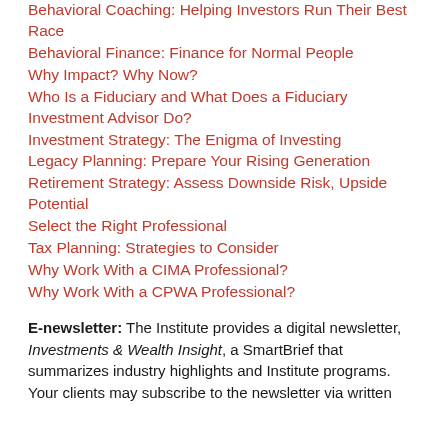Behavioral Coaching: Helping Investors Run Their Best Race
Behavioral Finance: Finance for Normal People
Why Impact? Why Now?
Who Is a Fiduciary and What Does a Fiduciary Investment Advisor Do?
Investment Strategy: The Enigma of Investing
Legacy Planning: Prepare Your Rising Generation
Retirement Strategy: Assess Downside Risk, Upside Potential
Select the Right Professional
Tax Planning: Strategies to Consider
Why Work With a CIMA Professional?
Why Work With a CPWA Professional?
E-newsletter: The Institute provides a digital newsletter, Investments & Wealth Insight, a SmartBrief that summarizes industry highlights and Institute programs. Your clients may subscribe to the newsletter via written